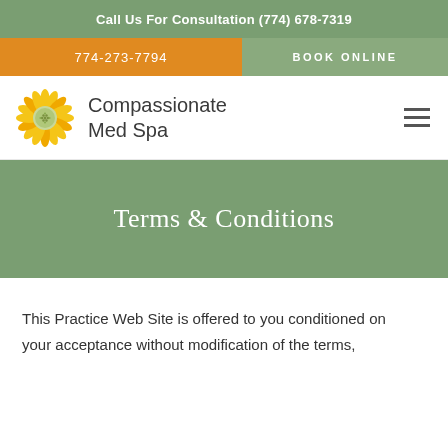Call Us For Consultation (774) 678-7319
774-273-7794
BOOK ONLINE
[Figure (logo): Compassionate Med Spa sunflower logo with text]
Terms & Conditions
This Practice Web Site is offered to you conditioned on your acceptance without modification of the terms,